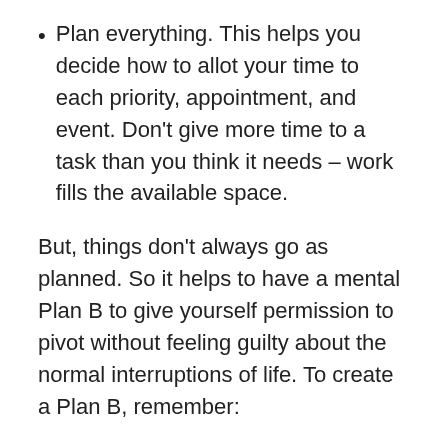Plan everything. This helps you decide how to allot your time to each priority, appointment, and event. Don't give more time to a task than you think it needs – work fills the available space.
But, things don't always go as planned. So it helps to have a mental Plan B to give yourself permission to pivot without feeling guilty about the normal interruptions of life. To create a Plan B, remember: